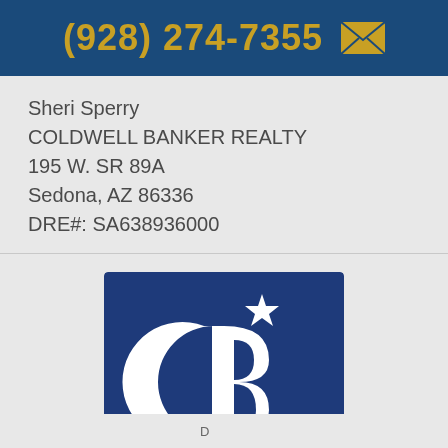(928) 274-7355
Sheri Sperry
COLDWELL BANKER REALTY
195 W. SR 89A
Sedona, AZ 86336
DRE#: SA638936000
[Figure (logo): Coldwell Banker Realty logo — dark blue square with stylized CB monogram and star, text COLDWELL BANKER REALTY in white]
Follow